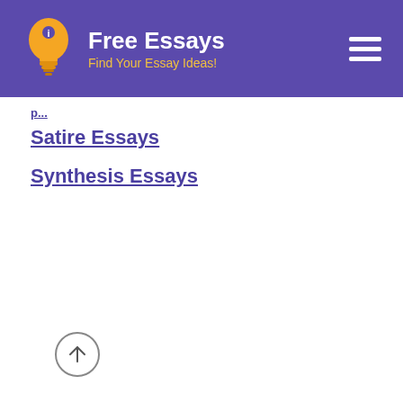Free Essays — Find Your Essay Ideas!
Satire Essays
Synthesis Essays